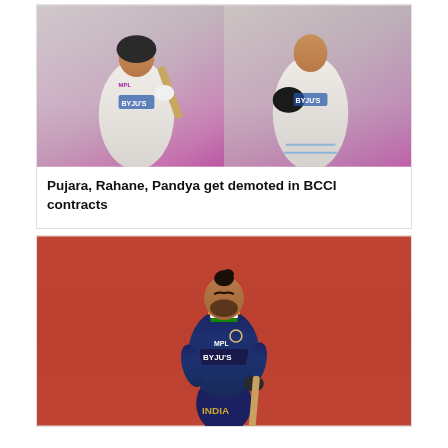[Figure (photo): Two Indian cricket players in white Test match kits (Pujara and Rahane) walking on the field, with a pink/magenta crowd background]
Pujara, Rahane, Pandya get demoted in BCCI contracts
[Figure (photo): Virat Kohli in blue India ODI jersey with MPL and BYJU'S sponsorship logos, holding a bat, with orange stadium seating in background]